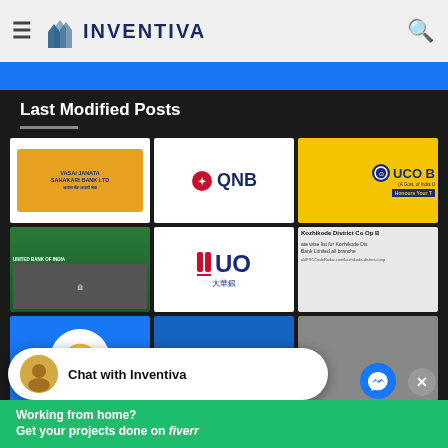[Figure (logo): Inventiva website header with hamburger menu, Inventiva logo (blue building icon + INVENTIVA text), and search icon on light gray background]
[Figure (screenshot): Blue horizontal banner below header]
Last Modified Posts
[Figure (screenshot): Grid of 9 bank/finance thumbnail images: Vasai Janata Sahakari Bank, QNB logo, UCO Bank (yellow), United Bank of India branch, UO bank logo with Chinese characters, Kozhikode District Co Op Bank text snippet, and 3 partial images in bottom row]
[Figure (screenshot): Chat with Inventiva overlay bubble with circular avatar]
Chat with Inventiva
Working from home?
Get your projects done on fiverr